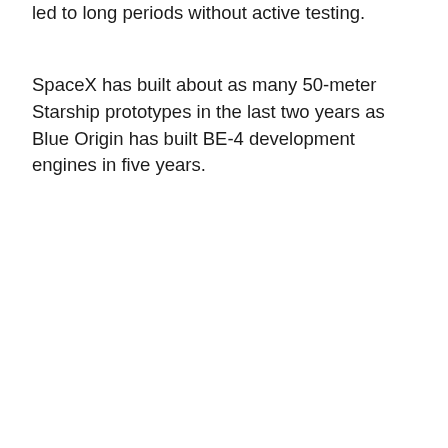led to long periods without active testing.
SpaceX has built about as many 50-meter Starship prototypes in the last two years as Blue Origin has built BE-4 development engines in five years.